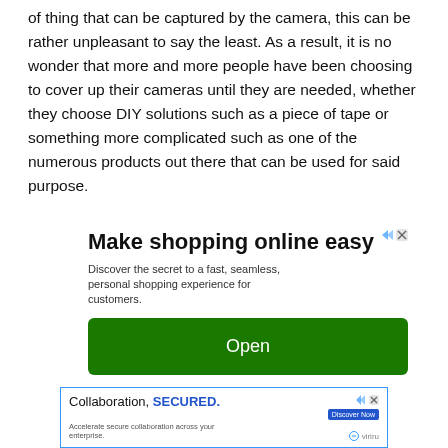of thing that can be captured by the camera, this can be rather unpleasant to say the least. As a result, it is no wonder that more and more people have been choosing to cover up their cameras until they are needed, whether they choose DIY solutions such as a piece of tape or something more complicated such as one of the numerous products out there that can be used for said purpose.
[Figure (other): Advertisement banner: 'Make shopping online easy' with subtext 'Discover the secret to a fast, seamless, personal shopping experience for customers.' and a green 'Open' button. Ad attribution icons top-right.]
[Figure (other): Bottom advertisement banner with blue border: 'Collaboration, SECURED.' with 'Discover Now' button and Virtu logo. Subtext: 'Accelerate secure collaboration across your enterprise.']